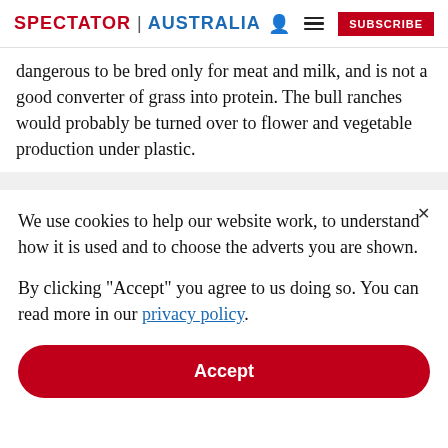SPECTATOR | AUSTRALIA
dangerous to be bred only for meat and milk, and is not a good converter of grass into protein. The bull ranches would probably be turned over to flower and vegetable production under plastic.
We use cookies to help our website work, to understand how it is used and to choose the adverts you are shown.
By clicking "Accept" you agree to us doing so. You can read more in our privacy policy.
Accept